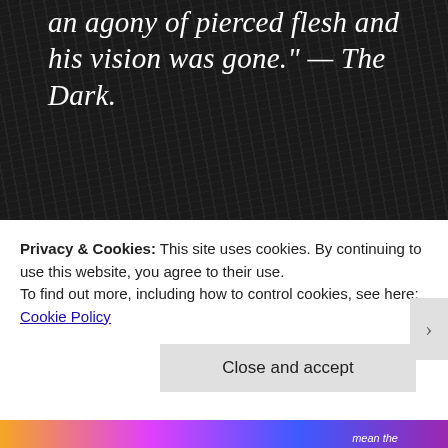an agony of pierced flesh and his vision was gone." — The Dark.
From Blogggedit, a new horror story, IT'S OVER. Its little jumbled (we'd recommend a editor) but her concepts are always gripping.
“So how can I stop all this?”
Privacy & Cookies: This site uses cookies. By continuing to use this website, you agree to their use.
To find out more, including how to control cookies, see here: Cookie Policy
Close and accept